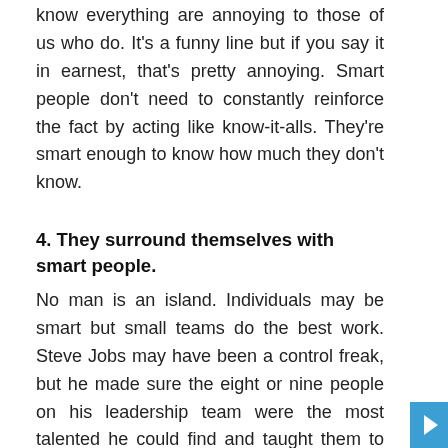know everything are annoying to those of us who do. It's a funny line but if you say it in earnest, that's pretty annoying. Smart people don't need to constantly reinforce the fact by acting like know-it-alls. They're smart enough to know how much they don't know.
4. They surround themselves with smart people.
No man is an island. Individuals may be smart but small teams do the best work. Steve Jobs may have been a control freak, but he made sure the eight or nine people on his leadership team were the most talented he could find and taught them to do the same with their teams. That's smart.